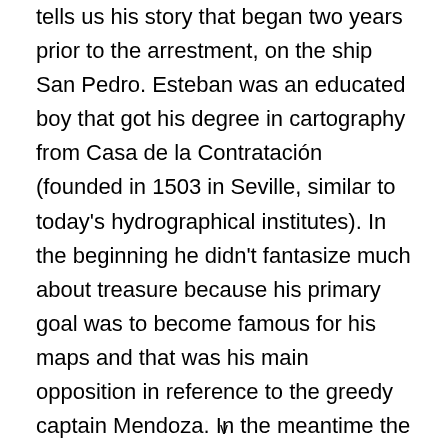tells us his story that began two years prior to the arrestment, on the ship San Pedro. Esteban was an educated boy that got his degree in cartography from Casa de la Contratación (founded in 1503 in Seville, similar to today's hydrographical institutes). In the beginning he didn't fantasize much about treasure because his primary goal was to become famous for his maps and that was his main opposition in reference to the greedy captain Mendoza. In the meantime the journey changed him and in the end he turned into the greedy captain Mendoza. He didn't want to share his treasure, especially not with those who, in his opinion, didn't deserve it. His behavior
v